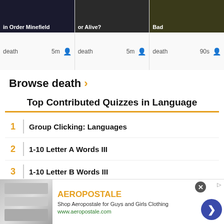[Figure (screenshot): Three quiz card thumbnails with dark background images showing text overlays and metadata rows with 'death', '5m', '5m', '90s' labels and orange person icons]
Browse death ›
Top Contributed Quizzes in Language
1  Group Clicking: Languages
2  1-10 Letter A Words III
3  1-10 Letter B Words III
4  11 Ways Not to 'Slip' on the Ice
[Figure (screenshot): Aeropostale advertisement banner with clothing images, brand name in orange, description text, and URL]